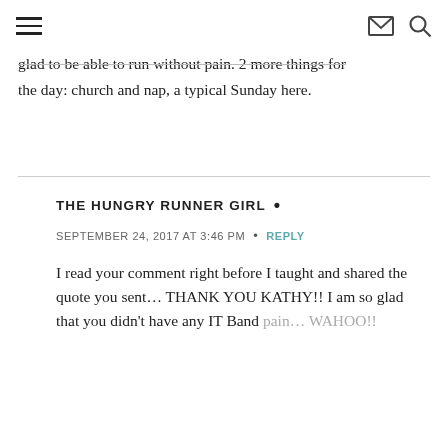[hamburger menu] [envelope icon] [search icon]
glad to be able to run without pain. 2 more things for the day: church and nap, a typical Sunday here.
THE HUNGRY RUNNER GIRL •
SEPTEMBER 24, 2017 AT 3:46 PM • REPLY
I read your comment right before I taught and shared the quote you sent… THANK YOU KATHY!! I am so glad that you didn't have any IT Band pain… WAHOO!!